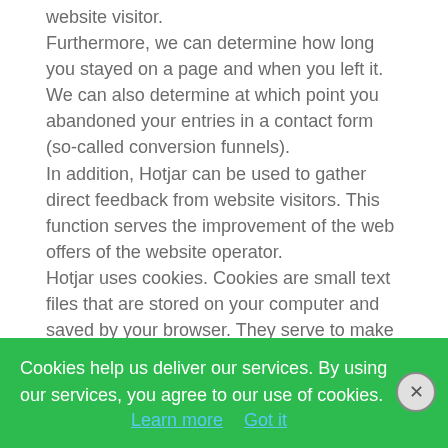website visitor. Furthermore, we can determine how long you stayed on a page and when you left it. We can also determine at which point you abandoned your entries in a contact form (so-called conversion funnels). In addition, Hotjar can be used to gather direct feedback from website visitors. This function serves the improvement of the web offers of the website operator. Hotjar uses cookies. Cookies are small text files that are stored on your computer and saved by your browser. They serve to make
Cookies help us deliver our services. By using our services, you agree to our use of cookies. Learn more Got it